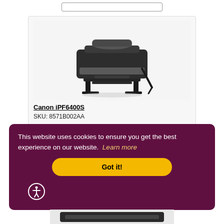[Figure (photo): Top portion of a product listing page showing a search/input box at the top (partially cut off).]
[Figure (photo): Photo of a Canon iPF6400S large format printer on a stand, shown on a light gray product card background.]
Canon iPF6400S
SKU: 8571B002AA
This website uses cookies to ensure you get the best experience on our website.  Learn more
Got it!